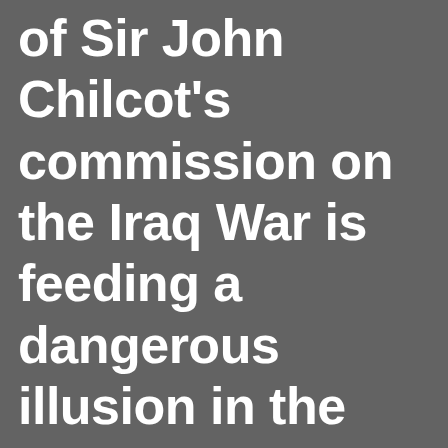of Sir John Chilcot's commission on the Iraq War is feeding a dangerous illusion in the British Armed Forces: that the absence of an effective strategy was the key reason for the failure of the coalition in the War